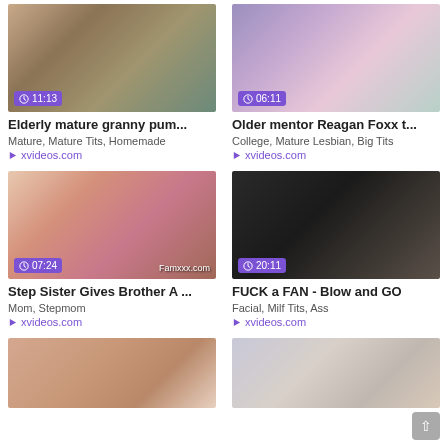[Figure (screenshot): Video thumbnail showing mature content, duration 11:13]
Elderly mature granny pum...
Mature, Mature Tits, Homemade
▷ xvideos.com
[Figure (screenshot): Video thumbnail showing two women on bed, duration 06:11]
Older mentor Reagan Foxx t...
College, Mature Lesbian, Big Tits
▷ xvideos.com
[Figure (screenshot): Video thumbnail Famxxx.com watermark, duration 07:24]
Step Sister Gives Brother A ...
Mom, Stepmom
▷ xvideos.com
[Figure (screenshot): Video thumbnail dark background, duration 20:11]
FUCK a FAN - Blow and GO
Facial, Milf Tits, Ass
▷ xvideos.com
[Figure (screenshot): Video thumbnail partial, bottom row left]
[Figure (screenshot): Video thumbnail partial, bottom row right]